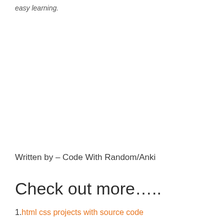easy learning.
Written by – Code With Random/Anki
Check out more…..
1. html css projects with source code